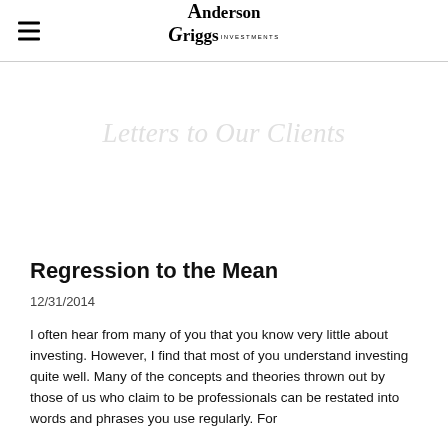Anderson Griggs Investments
Letters to Our Clients
Regression to the Mean
12/31/2014
I often hear from many of you that you know very little about investing. However, I find that most of you understand investing quite well. Many of the concepts and theories thrown out by those of us who claim to be professionals can be restated into words and phrases you use regularly. For